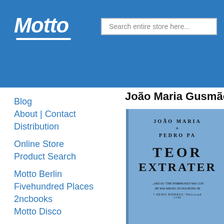Motto — Search entire store here...
Blog
About | Contact
Distribution
Online Store
Product Search
Motto Berlin
Fivehundred Places
2ncbooks
Motto Disco
Program Archive
Exhibitions
Newsletter
João Maria Gusmão
[Figure (photo): Blue hardcover book showing 'JOÃO MARIA + PEDRO PA...' and title beginning 'TEOR... EXTRATER...' with a quote referencing 'THE PYRRHONIST' and Denis Diderot, 1746]